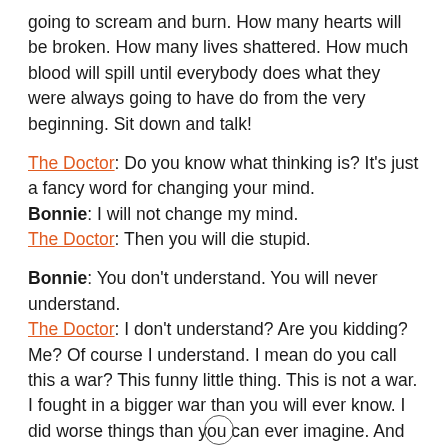going to scream and burn. How many hearts will be broken. How many lives shattered. How much blood will spill until everybody does what they were always going to have do from the very beginning. Sit down and talk!
The Doctor: Do you know what thinking is? It's just a fancy word for changing your mind.
Bonnie: I will not change my mind.
The Doctor: Then you will die stupid.
Bonnie: You don't understand. You will never understand.
The Doctor: I don't understand? Are you kidding? Me? Of course I understand. I mean do you call this a war? This funny little thing. This is not a war. I fought in a bigger war than you will ever know. I did worse things than you can ever imagine. And when I close my eyes... I hear more screams than anyone would ever be able to count!